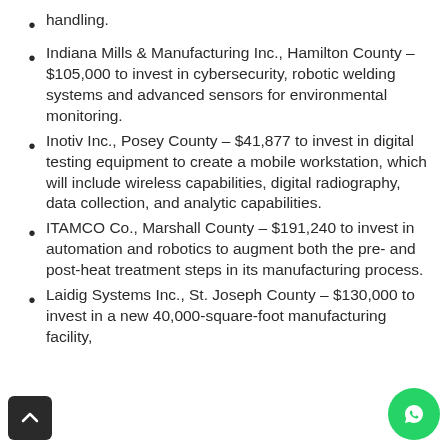handling.
Indiana Mills & Manufacturing Inc., Hamilton County – $105,000 to invest in cybersecurity, robotic welding systems and advanced sensors for environmental monitoring.
Inotiv Inc., Posey County – $41,877 to invest in digital testing equipment to create a mobile workstation, which will include wireless capabilities, digital radiography, data collection, and analytic capabilities.
ITAMCO Co., Marshall County – $191,240 to invest in automation and robotics to augment both the pre- and post-heat treatment steps in its manufacturing process.
Laidig Systems Inc., St. Joseph County – $130,000 to invest in a new 40,000-square-foot manufacturing facility,